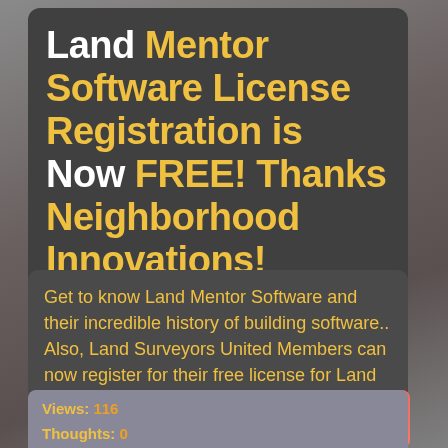Land Mentor Software License Registration is Now FREE! Thanks Neighborhood Innovations!
Get to know Land Mentor Software and their incredible history of building software.. Also, Land Surveyors United Members can now register for their free license for Land Mentor Software...
Views: 116
Thoughts: 0